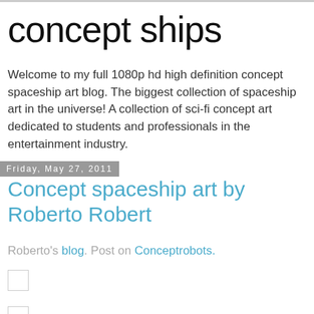concept ships
Welcome to my full 1080p hd high definition concept spaceship art blog. The biggest collection of spaceship art in the universe! A collection of sci-fi concept art dedicated to students and professionals in the entertainment industry.
Friday, May 27, 2011
Concept spaceship art by Roberto Robert
Roberto's blog. Post on Conceptrobots.
[Figure (other): Thumbnail image placeholder (empty checkbox outline)]
[Figure (other): Thumbnail image placeholder (empty checkbox outline)]
[Figure (other): Thumbnail image placeholder (empty checkbox outline)]